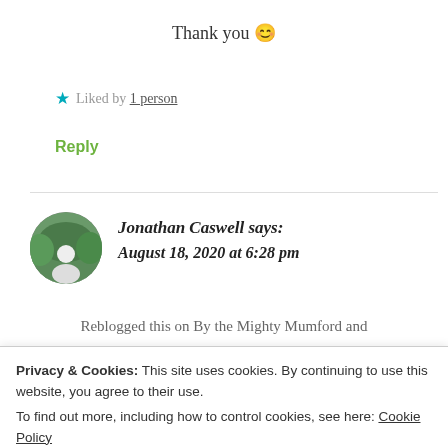Thank you 😊
★ Liked by 1 person
Reply
Jonathan Caswell says: August 18, 2020 at 6:28 pm
Reblogged this on By the Mighty Mumford and
Privacy & Cookies: This site uses cookies. By continuing to use this website, you agree to their use.
To find out more, including how to control cookies, see here: Cookie Policy
Close and accept
Advertisements